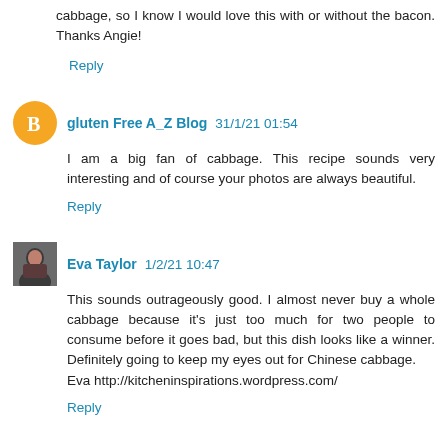cabbage, so I know I would love this with or without the bacon. Thanks Angie!
Reply
gluten Free A_Z Blog 31/1/21 01:54
I am a big fan of cabbage. This recipe sounds very interesting and of course your photos are always beautiful.
Reply
Eva Taylor 1/2/21 10:47
This sounds outrageously good. I almost never buy a whole cabbage because it's just too much for two people to consume before it goes bad, but this dish looks like a winner. Definitely going to keep my eyes out for Chinese cabbage.
Eva http://kitcheninspirations.wordpress.com/
Reply